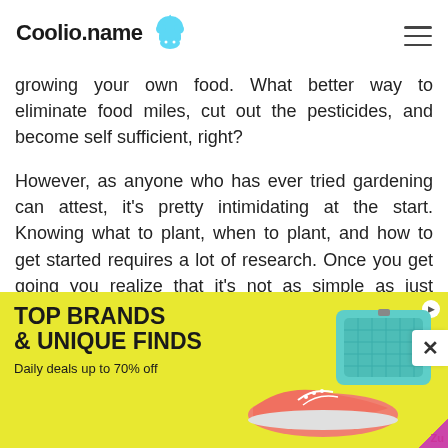Coolio.name
growing your own food. What better way to eliminate food miles, cut out the pesticides, and become self sufficient, right?
However, as anyone who has ever tried gardening can attest, it's pretty intimidating at the start. Knowing what to plant, when to plant, and how to get started requires a lot of research. Once you get going you realize that it's not as simple as just putting something in the ground and waiting.
[Figure (other): Advertisement banner with yellow background showing 'TOP BRANDS & UNIQUE FINDS - Daily deals up to 70% off' with shoe and bag product images]